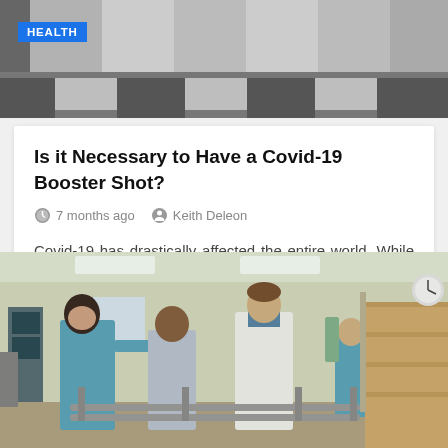[Figure (photo): A grayscale/tiled medical or health-related header image with a HEALTH badge overlay]
Is it Necessary to Have a Covid-19 Booster Shot?
7 months ago   Keith Deleon
Covid-19 has drastically affected the entire world. While there are many measures to contain the spread of infection, the world is still far from being safe because the virus keeps…
[Figure (photo): Photo of healthcare workers in a rehabilitation gym. A nurse in scrubs assists a patient walking between parallel bars, a doctor in a white coat stands nearby, and additional staff are visible in the background near stairs.]